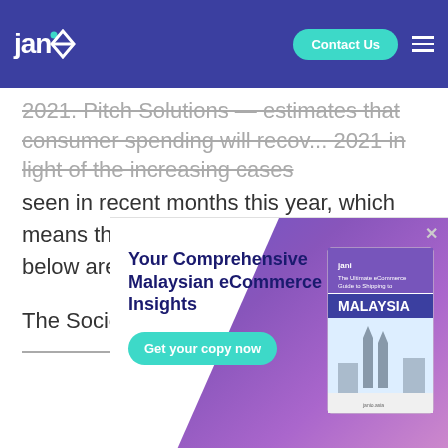janio | Contact Us
2021. Pitch Solutions — estimates that consumer spending will recover... 2021 in light of the increasing cases seen in recent months this year, which means that most of the points mentioned below are likely still applicable this year.
The Socio-Economic Research Centre...
[Figure (infographic): Ad overlay for Janio Malaysian eCommerce Insights guide with title 'Your Comprehensive Malaysian eCommerce Insights', a 'Get your copy now' button, and a book cover image showing Malaysia with Petronas Towers illustration.]